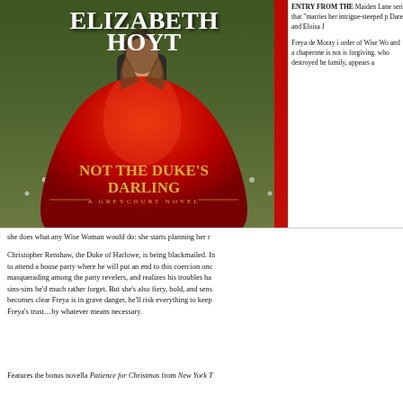[Figure (illustration): Book cover for 'Not the Duke's Darling: A Greycourt Novel' by Elizabeth Hoyt. Shows a woman in a red dress in a green field.]
Maiden Lane series that "marries her intrigue-steeped p Dare and Eloisa J
Freya de Moray i order of Wise Wo and a chaperone is not is forgiving. who destroyed he family, appears a she does what any Wise Woman would do: she starts planning her r
Christopher Renshaw, the Duke of Harlowe, is being blackmailed. In to attend a house party where he will put an end to this coercion onc masquerading among the party revelers, and realizes his troubles ha sins-sins he'd much rather forget. But she's also fiery, bold, and sens becomes clear Freya is in grave danger, he'll risk everything to keep Freya's trust…by whatever means necessary.
Features the bonus novella Patience for Christmas from New York T